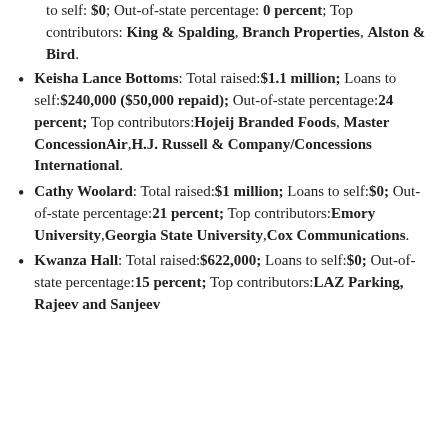to self: $0; Out-of-state percentage: 0 percent; Top contributors: King & Spalding, Branch Properties, Alston & Bird.
Keisha Lance Bottoms: Total raised:$1.1 million; Loans to self:$240,000 ($50,000 repaid); Out-of-state percentage:24 percent; Top contributors:Hojeij Branded Foods, Master ConcessionAir,H.J. Russell & Company/Concessions International.
Cathy Woolard: Total raised:$1 million; Loans to self:$0; Out-of-state percentage:21 percent; Top contributors:Emory University,Georgia State University,Cox Communications.
Kwanza Hall: Total raised:$622,000; Loans to self:$0; Out-of-state percentage:15 percent; Top contributors:LAZ Parking, Rajeev and Sanjeev